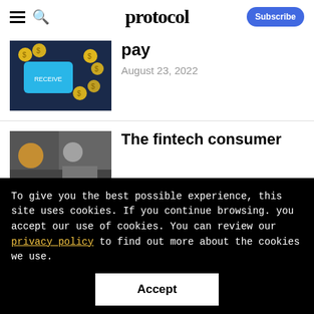protocol
[Figure (photo): Smartphone with coins and crypto payment interface on a dark background]
pay
August 23, 2022
[Figure (photo): People working in a store or warehouse environment]
The fintech consumer
To give you the best possible experience, this site uses cookies. If you continue browsing. you accept our use of cookies. You can review our privacy policy to find out more about the cookies we use.